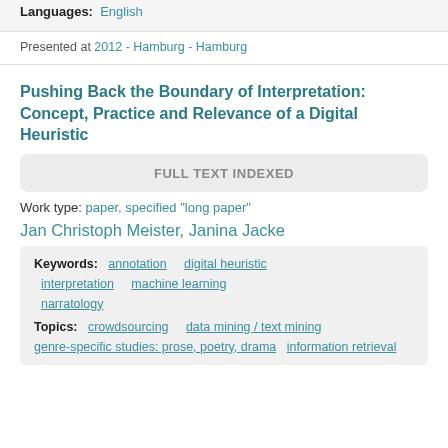Languages: English
Presented at 2012 - Hamburg - Hamburg
Pushing Back the Boundary of Interpretation: Concept, Practice and Relevance of a Digital Heuristic
FULL TEXT INDEXED
Work type: paper, specified "long paper"
Jan Christoph Meister, Janina Jacke
Keywords: annotation   digital heuristic   interpretation   machine learning   narratology
Topics: crowdsourcing   data mining / text mining   genre-specific studies: prose, poetry, drama   information retrieval